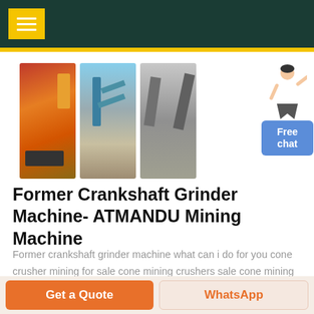Navigation menu header bar
[Figure (photo): Three mining equipment photos: orange cone crusher machine on left, blue conveyor/screening plant in center, and gray conveyor belt system on right. A female assistant figure stands to the far right with a 'Free chat' blue button.]
Former Crankshaft Grinder Machine- ATMANDU Mining Machine
Former crankshaft grinder machine what can i do for you cone crusher mining for sale cone mining crushers sale cone mining crushers sale alibabacom offers 31249 cone mining crushers sale products about 80 of these are crusher a
Get a Quote | WhatsApp